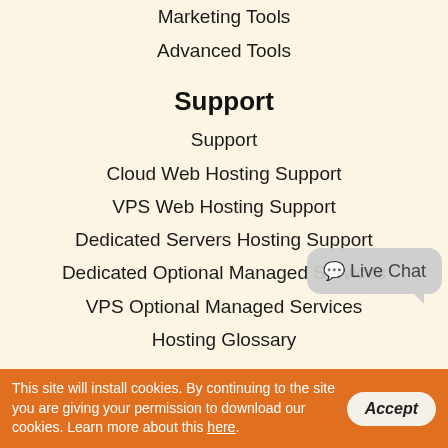Marketing Tools
Advanced Tools
Support
Support
Cloud Web Hosting Support
VPS Web Hosting Support
Dedicated Servers Hosting Support
Dedicated Optional Managed Services
VPS Optional Managed Services
Hosting Glossary
Contact Us
Our ID: 95689
US: +1-855-211-0932
US: +1-727-546-HOST(4678)
UK: +44-20-3695-1294
Live Chat
This site will install cookies. By continuing to the site you are giving your permission to download our cookies. Learn more about this here.